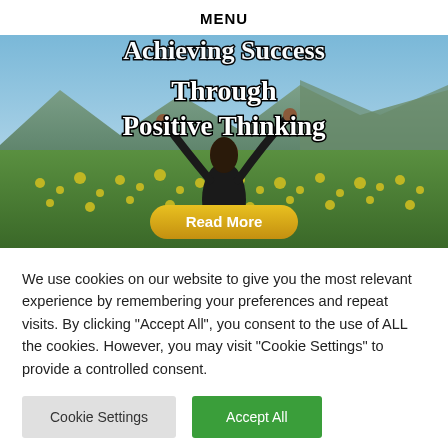MENU
[Figure (photo): Hero image of a person with arms raised in a field of yellow flowers with mountains in the background. Overlaid text reads 'Achieving Success Through Positive Thinking' with a 'Read More' button.]
We use cookies on our website to give you the most relevant experience by remembering your preferences and repeat visits. By clicking "Accept All", you consent to the use of ALL the cookies. However, you may visit "Cookie Settings" to provide a controlled consent.
Cookie Settings
Accept All